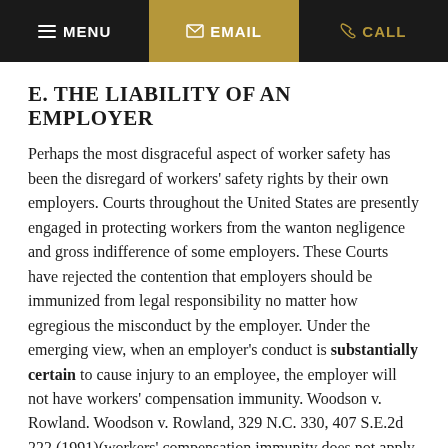≡ MENU  ✉ EMAIL  ✆ CALL
E. THE LIABILITY OF AN EMPLOYER
Perhaps the most disgraceful aspect of worker safety has been the disregard of workers' safety rights by their own employers. Courts throughout the United States are presently engaged in protecting workers from the wanton negligence and gross indifference of some employers. These Courts have rejected the contention that employers should be immunized from legal responsibility no matter how egregious the misconduct by the employer. Under the emerging view, when an employer's conduct is substantially certain to cause injury to an employee, the employer will not have workers' compensation immunity. Woodson v. Rowland. Woodson v. Rowland, 329 N.C. 330, 407 S.E.2d 222 (1991)(workers' compensation immunity does not apply where employer acts with substantial certainty that injury will result). See Also Bazley v.